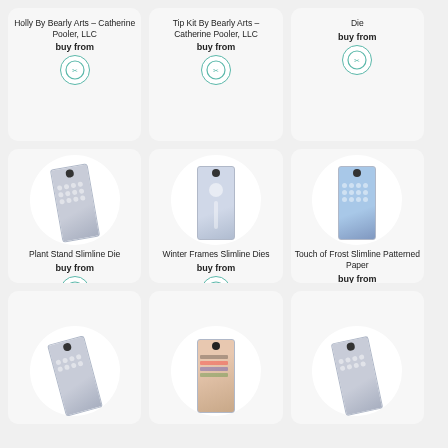Holly By Bearly Arts – Catherine Pooler, LLC
buy from
[Figure (logo): Circular logo with scissors/craft icon, teal border]
Tip Kit By Bearly Arts – Catherine Pooler, LLC
buy from
[Figure (logo): Circular logo with scissors/craft icon, teal border]
Die
buy from
[Figure (logo): Circular logo with scissors/craft icon, teal border]
[Figure (photo): Plant Stand Slimline Die product photo]
Plant Stand Slimline Die
buy from
[Figure (logo): Circular logo with scissors/craft icon, teal border]
[Figure (photo): Winter Frames Slimline Dies product photo]
Winter Frames Slimline Dies
buy from
[Figure (logo): Circular logo with scissors/craft icon, teal border]
[Figure (photo): Touch of Frost Slimline Patterned Paper product photo]
Touch of Frost Slimline Patterned Paper
buy from
[Figure (logo): Circular logo with scissors/craft icon, teal border]
[Figure (photo): Bottom left product photo - stencil]
[Figure (photo): Bottom center product photo - patterned paper]
[Figure (photo): Bottom right product photo - stencil]